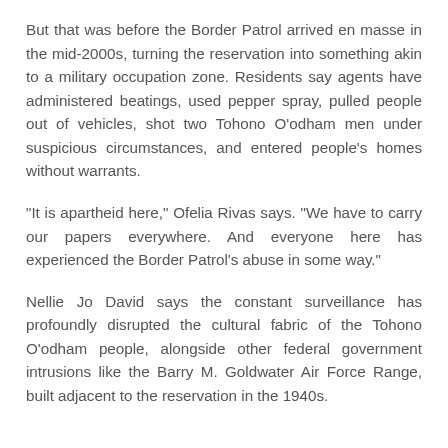But that was before the Border Patrol arrived en masse in the mid-2000s, turning the reservation into something akin to a military occupation zone. Residents say agents have administered beatings, used pepper spray, pulled people out of vehicles, shot two Tohono O’odham men under suspicious circumstances, and entered people’s homes without warrants.
“It is apartheid here,” Ofelia Rivas says. “We have to carry our papers everywhere. And everyone here has experienced the Border Patrol’s abuse in some way.”
Nellie Jo David says the constant surveillance has profoundly disrupted the cultural fabric of the Tohono O’odham people, alongside other federal government intrusions like the Barry M. Goldwater Air Force Range, built adjacent to the reservation in the 1940s.